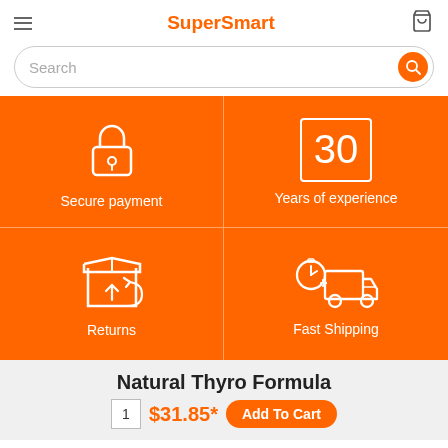SuperSmart
[Figure (infographic): Orange banner with four icons: Secure payment (padlock), 30 Years of experience (number 30 in a box), Returns (box with return arrow), Fast Shipping (delivery truck with stopwatch). Two columns separated by a vertical white divider line.]
Natural Thyro Formula
1  $31.85*  Add To Cart